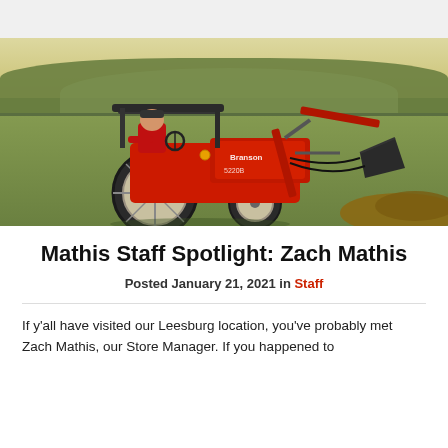[Figure (photo): Man in red shirt riding a large red Branson tractor with front loader attachment in a green field with trees in the background]
Mathis Staff Spotlight: Zach Mathis
Posted January 21, 2021 in Staff
If y'all have visited our Leesburg location, you've probably met Zach Mathis, our Store Manager. If you happened to